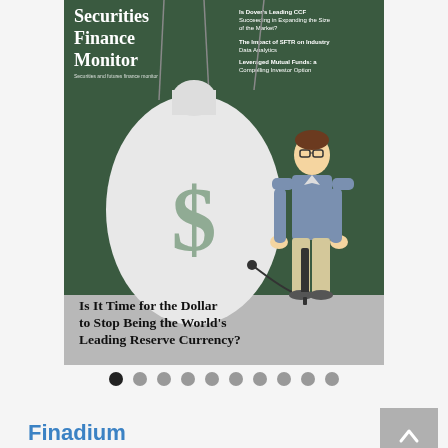[Figure (illustration): Cover of Securities Finance Monitor magazine. Dark green background with a large white money bag featuring a dollar sign, suspended by hooks/pins from above. A man in glasses and a blue shirt stands to the right holding a bicycle pump connected to the bag. Title text reads 'Is It Time for the Dollar to Stop Being the World's Leading Reserve Currency?' Top right lists article titles including 'Is Dover's Leading CCF Succeeding in Expanding the Size of the Market?', 'The Impact of SFTR on Industry Data Analytics', 'Leveraged Mutual Funds: a Compelling Investor Option'. Top left shows 'Securities Finance Monitor' masthead.]
● ● ● ● ● ● ● ● ● ●
Finadium
Research Reports